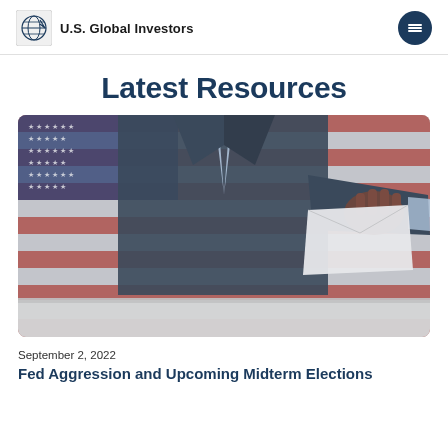U.S. Global Investors
Latest Resources
[Figure (photo): A person in a dark suit inserting a ballot into a ballot box, with an American flag visible in the background.]
September 2, 2022
Fed Aggression and Upcoming Midterm Elections